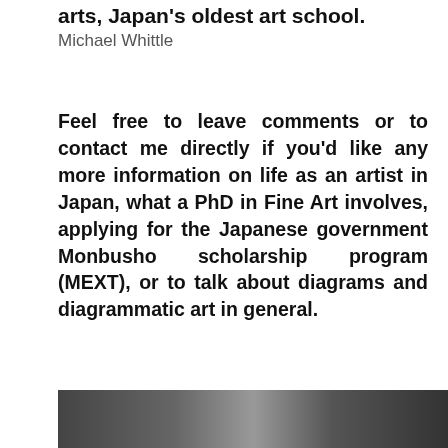arts, Japan's oldest art school.
Michael Whittle
Feel free to leave comments or to contact me directly if you'd like any more information on life as an artist in Japan, what a PhD in Fine Art involves, applying for the Japanese government Monbusho scholarship program (MEXT), or to talk about diagrams and diagrammatic art in general.
[Figure (photo): A black and white photograph partially visible at the bottom of the page.]